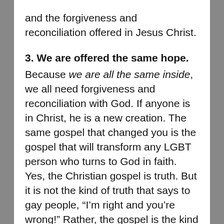and the forgiveness and reconciliation offered in Jesus Christ.
3. We are offered the same hope.
Because we are all the same inside, we all need forgiveness and reconciliation with God. If anyone is in Christ, he is a new creation. The same gospel that changed you is the gospel that will transform any LGBT person who turns to God in faith. Yes, the Christian gospel is truth. But it is not the kind of truth that says to gay people, “I’m right and you’re wrong!” Rather, the gospel is the kind of truth that says God is real and He is there and he offers Himself in a way real way to gay and straight